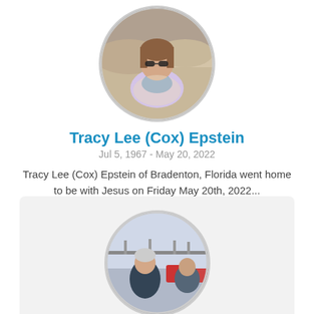[Figure (photo): Circular profile photo of Tracy Lee (Cox) Epstein, a woman wearing sunglasses and a blue scarf with a patterned top, outdoor background]
Tracy Lee (Cox) Epstein
Jul 5, 1967 - May 20, 2022
Tracy Lee (Cox) Epstein of Bradenton, Florida went home to be with Jesus on Friday May 20th, 2022...
View Obituary
Add a Memory
[Figure (photo): Circular profile photo of an older man sitting outdoors, wearing a dark jacket, with red seating visible in background]